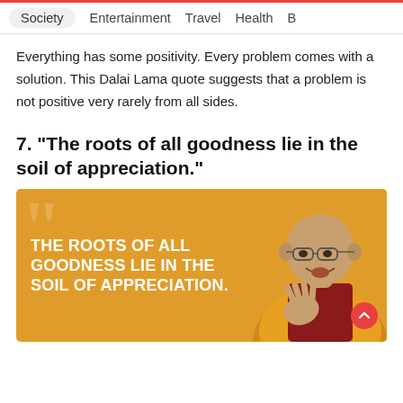Society  Entertainment  Travel  Health  B
Everything has some positivity. Every problem comes with a solution. This Dalai Lama quote suggests that a problem is not positive very rarely from all sides.
7. "The roots of all goodness lie in the soil of appreciation."
[Figure (photo): Orange background quote card with white bold text reading 'THE ROOTS OF ALL GOODNESS LIE IN THE SOIL OF APPRECIATION.' with an image of the Dalai Lama in yellow robes on the right side, and a red scroll-up button.]